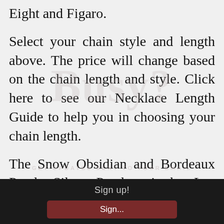Eight and Figaro.
Select your chain style and length above. The price will change based on the chain length and style. Click here to see our Necklace Length Guide to help you in choosing your chain length.
The Snow Obsidian and Bordeaux Pearls Silver Pendant is by Lee Buchanan Jewelry--Timeless Artisan Designed Jewelry crafted with color and style. All of our jewelry comes in a white jewelry box with a silver stretch ribbon and
Sign up!